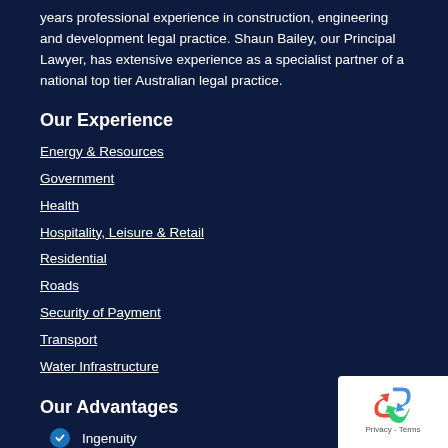years professional experience in construction, engineering and development legal practice. Shaun Bailey, our Principal Lawyer, has extensive experience as a specialist partner of a national top tier Australian legal practice.
Our Experience
Energy & Resources
Government
Health
Hospitality, Leisure & Retail
Residential
Roads
Security of Payment
Transport
Water Infrastructure
Our Advantages
Ingenuity
Experience
[Figure (logo): reCAPTCHA badge with recycling-arrow logo and Privacy - Terms text]